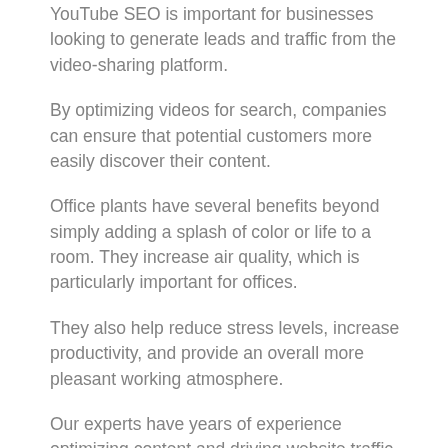YouTube SEO is important for businesses looking to generate leads and traffic from the video-sharing platform.
By optimizing videos for search, companies can ensure that potential customers more easily discover their content.
Office plants have several benefits beyond simply adding a splash of color or life to a room. They increase air quality, which is particularly important for offices.
They also help reduce stress levels, increase productivity, and provide an overall more pleasant working atmosphere.
Our experts have years of experience optimizing content and driving website traffic through search engine techniques.